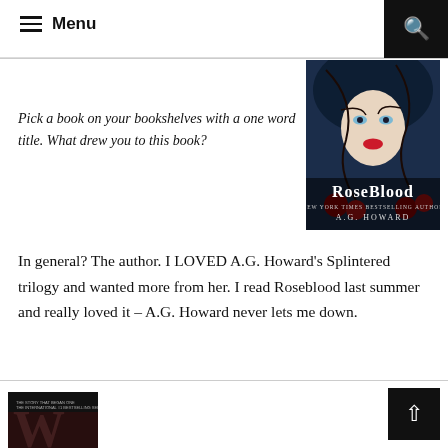Menu
Pick a book on your bookshelves with a one word title. What drew you to this book?
[Figure (photo): Book cover of RoseBlood by A.G. Howard — dark fantasy illustration of a pale woman with red lips entangled in thorned vines, with the title ROSEBLOOD and author name A.G. HOWARD at the bottom]
In general? The author. I LOVED A.G. Howard’s Splintered trilogy and wanted more from her. I read Roseblood last summer and really loved it – A.G. Howard never lets me down.
[Figure (photo): Partial book cover thumbnail at bottom left, dark background with large stylized letter W visible, and text referencing an international bestselling series]